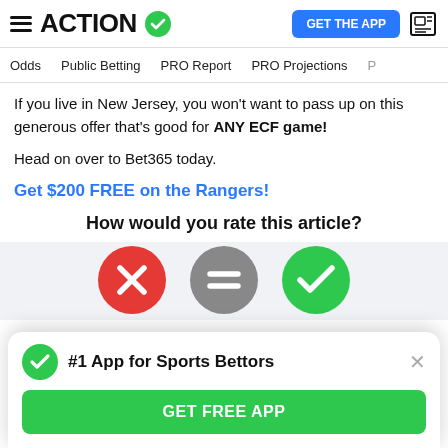ACTION (logo) — GET THE APP
Odds | Public Betting | PRO Report | PRO Projections
If you live in New Jersey, you won't want to pass up on this generous offer that's good for ANY ECF game!
Head on over to Bet365 today.
Get $200 FREE on the Rangers!
How would you rate this article?
[Figure (illustration): Three rating buttons: red X circle (bad), grey equals circle (neutral), green checkmark circle (good)]
#1 App for Sports Bettors — GET FREE APP